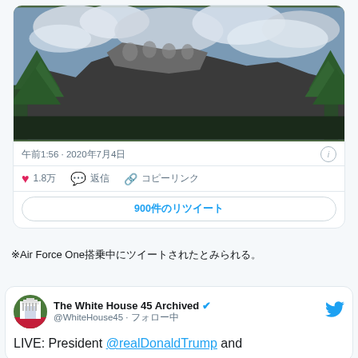[Figure (photo): Photo of Mount Rushmore with trees and clouds, posted in a tweet card]
午前1:56 · 2020年7月4日
♥ 1.8万   💬 返信   🔗 コピーリンク
900件のリツイート
※Air Force One搭乗中にツイートされたとみられる。
[Figure (screenshot): Tweet from The White House 45 Archived (@WhiteHouse45) with text: LIVE: President @realDonaldTrump and]